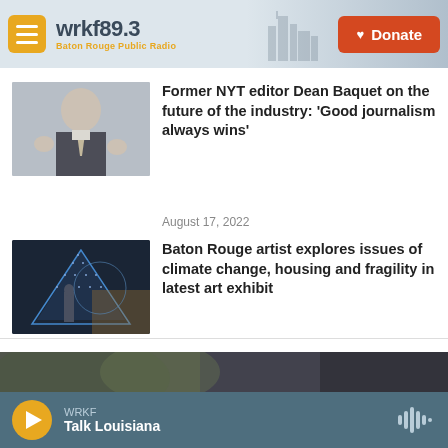wrkf89.3 Baton Rouge Public Radio
Former NYT editor Dean Baquet on the future of the industry: 'Good journalism always wins'
August 17, 2022
Baton Rouge artist explores issues of climate change, housing and fragility in latest art exhibit
August 16, 2022
[Figure (screenshot): Bottom partial image of a dark blurred background]
WRKF Talk Louisiana